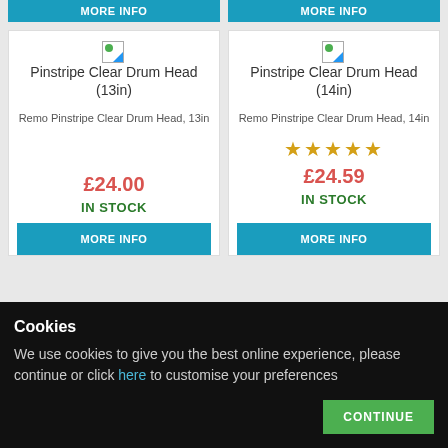[Figure (screenshot): Two product cards for Remo Pinstripe Clear Drum Head (13in and 14in) with MORE INFO buttons at top (partially cropped), prices, stock status, and MORE INFO buttons at bottom. A cookie consent banner overlays the bottom portion.]
Pinstripe Clear Drum Head (13in)
Remo Pinstripe Clear Drum Head, 13in
£24.00
IN STOCK
MORE INFO
Pinstripe Clear Drum Head (14in)
Remo Pinstripe Clear Drum Head, 14in
★★★★★
£24.59
IN STOCK
MORE INFO
Cookies
We use cookies to give you the best online experience, please continue or click here to customise your preferences
CONTINUE